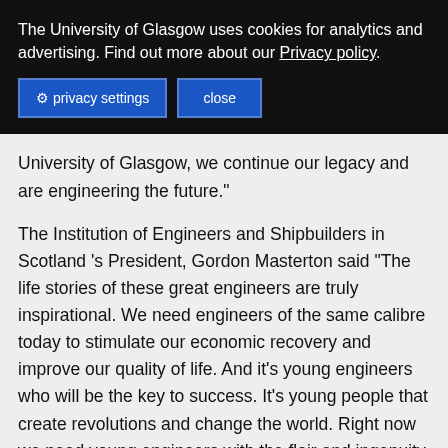The University of Glasgow uses cookies for analytics and advertising. Find out more about our Privacy policy.
privacy settings   close
University of Glasgow, we continue our legacy and are engineering the future."
The Institution of Engineers and Shipbuilders in Scotland 's President, Gordon Masterton said "The life stories of these great engineers are truly inspirational. We need engineers of the same calibre today to stimulate our economic recovery and improve our quality of life. And it's young engineers who will be the key to success. It's young people that create revolutions and change the world. Right now we need young engineers with the flair and ingenuity to help us create a sustainable future for the planet